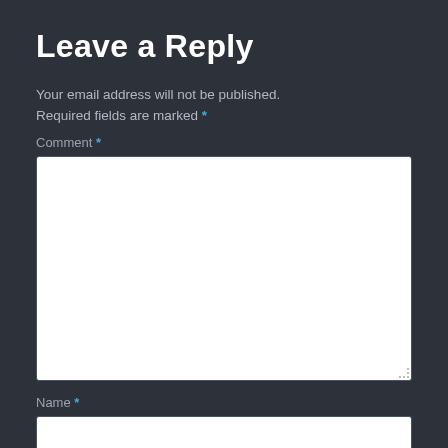Leave a Reply
Your email address will not be published. Required fields are marked *
Comment *
[Figure (screenshot): Empty comment text area input field with white background and resize handle]
Name *
[Figure (screenshot): Empty name text input field with white background]